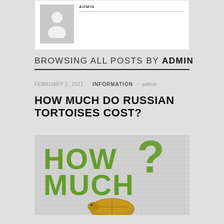[Figure (illustration): Placeholder avatar/profile image — grey background with white silhouette of a person]
BROWSING ALL POSTS BY ADMIN
FEBRUARY 2, 2021 · INFORMATION · admin
HOW MUCH DO RUSSIAN TORTOISES COST?
[Figure (illustration): Graphic showing large green text reading HOW MUCH? with a tortoise illustration at the bottom, on a grey dotted background]